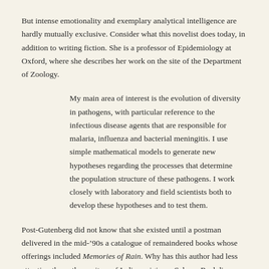But intense emotionality and exemplary analytical intelligence are hardly mutually exclusive. Consider what this novelist does today, in addition to writing fiction. She is a professor of Epidemiology at Oxford, where she describes her work on the site of the Department of Zoology.
My main area of interest is the evolution of diversity in pathogens, with particular reference to the infectious disease agents that are responsible for malaria, influenza and bacterial meningitis. I use simple mathematical models to generate new hypotheses regarding the processes that determine the population structure of these pathogens. I work closely with laboratory and field scientists both to develop these hypotheses and to test them.
Post-Gutenberg did not know that she existed until a postman delivered in the mid-'90s a catalogue of remaindered books whose offerings included Memories of Rain. Why has this author had less attention than other writers of Indian origin — Salman Rushdie, Anita or Kiran Desai, or Jhumpa Lahiri? We suspect, for part of the explanation, that she writes first to please her own sensibility, rather than Western literary tastes. See an earlier entry on this